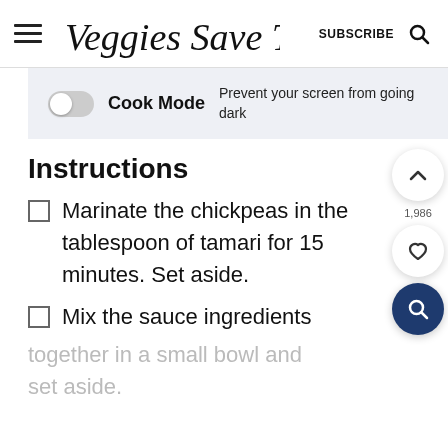Veggies Save The Day — SUBSCRIBE
Cook Mode — Prevent your screen from going dark
Instructions
Marinate the chickpeas in the tablespoon of tamari for 15 minutes. Set aside.
Mix the sauce ingredients together in a small bowl and set aside.